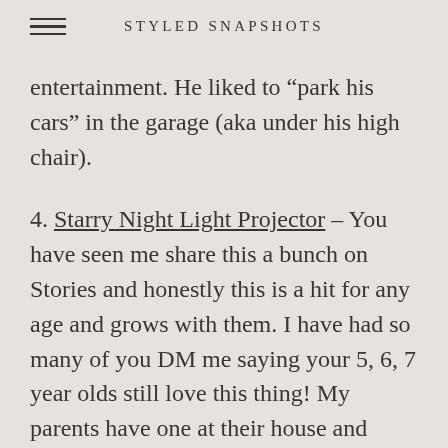STYLED SNAPSHOTS
entertainment. He liked to “park his cars” in the garage (aka under his high chair).
4. Starry Night Light Projector – You have seen me share this a bunch on Stories and honestly this is a hit for any age and grows with them. I have had so many of you DM me saying your 5, 6, 7 year olds still love this thing! My parents have one at their house and that’s when Logan first fell in love. I have to admit,